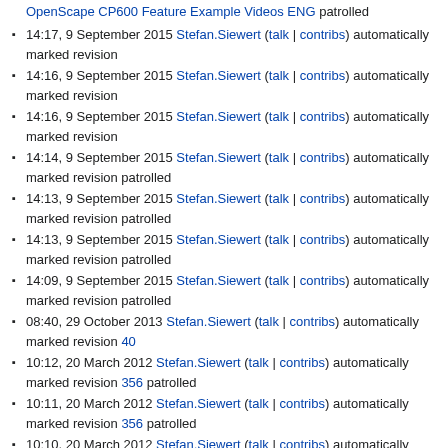OpenScape CP600 Feature Example Videos ENG patrolled
14:17, 9 September 2015 Stefan.Siewert (talk | contribs) automatically marked revision …
14:16, 9 September 2015 Stefan.Siewert (talk | contribs) automatically marked revision …
14:16, 9 September 2015 Stefan.Siewert (talk | contribs) automatically marked revision …
14:14, 9 September 2015 Stefan.Siewert (talk | contribs) automatically marked revision … patrolled
14:13, 9 September 2015 Stefan.Siewert (talk | contribs) automatically marked revision … patrolled
14:13, 9 September 2015 Stefan.Siewert (talk | contribs) automatically marked revision … patrolled
14:09, 9 September 2015 Stefan.Siewert (talk | contribs) automatically marked revision … patrolled
08:40, 29 October 2013 Stefan.Siewert (talk | contribs) automatically marked revision 40…
10:12, 20 March 2012 Stefan.Siewert (talk | contribs) automatically marked revision 356… patrolled
10:11, 20 March 2012 Stefan.Siewert (talk | contribs) automatically marked revision 356… patrolled
10:10, 20 March 2012 Stefan.Siewert (talk | contribs) automatically marked revision 356…
10:10, 20 March 2012 Stefan.Siewert (talk | contribs) automatically marked revision 356…
12:43, 19 March 2012 Stefan.Siewert (talk | contribs) automatically marked revision 356…
12:32, 19 March 2012 Stefan.Siewert (talk | contribs) automatically marked revision 356…
10:01, 8 February 2012 Stefan.Siewert (talk | contribs) automatically marked revision 35…
12:23, 30 January 2012 Stefan.Siewert (talk | contribs) automatically marked revision 35… patrolled
12:16, 30 January 2012 Stefan.Siewert (talk | contribs) automatically marked revision 35…